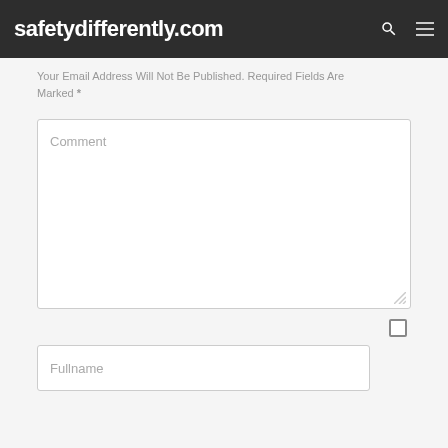safetydifferently.com
Your Email Address Will Not Be Published. Required Fields Are Marked *
[Figure (screenshot): Comment text area input field with placeholder text 'Comment' and resize handle]
[Figure (screenshot): Checkbox element]
[Figure (screenshot): Fullname input field with placeholder text 'Fullname']